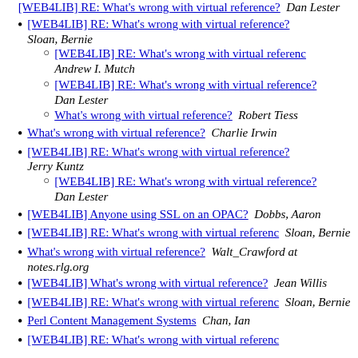[WEB4LIB] RE: What's wrong with virtual reference?  Dan Lester
[WEB4LIB] RE: What's wrong with virtual reference?  Sloan, Bernie
[WEB4LIB] RE: What's wrong with virtual referenc  Andrew I. Mutch
[WEB4LIB] RE: What's wrong with virtual reference?  Dan Lester
What's wrong with virtual reference?  Robert Tiess
What's wrong with virtual reference?  Charlie Irwin
[WEB4LIB] RE: What's wrong with virtual reference?  Jerry Kuntz
[WEB4LIB] RE: What's wrong with virtual reference?  Dan Lester
[WEB4LIB] Anyone using SSL on an OPAC?  Dobbs, Aaron
[WEB4LIB] RE: What's wrong with virtual referenc  Sloan, Bernie
What's wrong with virtual reference?  Walt_Crawford at notes.rlg.org
[WEB4LIB] What's wrong with virtual reference?  Jean Willis
[WEB4LIB] RE: What's wrong with virtual referenc  Sloan, Bernie
Perl Content Management Systems  Chan, Ian
[WEB4LIB] RE: What's wrong with virtual referenc